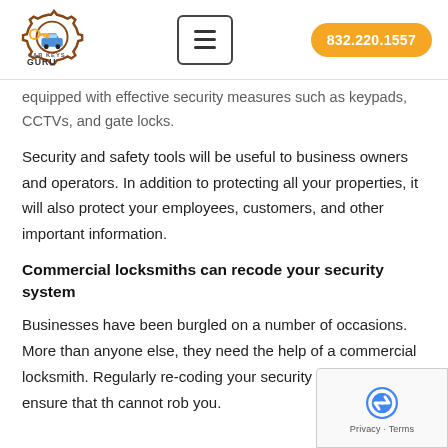Car Keys Guru | 832.220.1557
equipped with effective security measures such as keypads, CCTVs, and gate locks.
Security and safety tools will be useful to business owners and operators. In addition to protecting all your properties, it will also protect your employees, customers, and other important information.
Commercial locksmiths can recode your security system
Businesses have been burgled on a number of occasions. More than anyone else, they need the help of a commercial locksmith. Regularly re-coding your security system will ensure that th cannot rob you.
A...